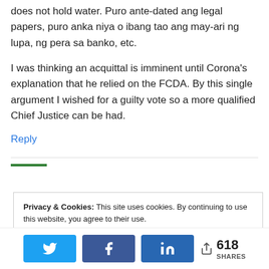does not hold water. Puro ante-dated ang legal papers, puro anka niya o ibang tao ang may-ari ng lupa, ng pera sa banko, etc.
I was thinking an acquittal is imminent until Corona's explanation that he relied on the FCDA. By this single argument I wished for a guilty vote so a more qualified Chief Justice can be had.
Reply
Privacy & Cookies: This site uses cookies. By continuing to use this website, you agree to their use.
To find out more, including how to control cookies, see here: Cookie Policy
618 SHARES